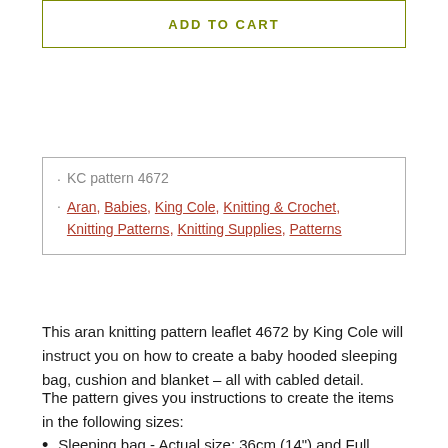ADD TO CART
KC pattern 4672
Aran, Babies, King Cole, Knitting & Crochet, Knitting Patterns, Knitting Supplies, Patterns
This aran knitting pattern leaflet 4672 by King Cole will instruct you on how to create a baby hooded sleeping bag, cushion and blanket – all with cabled detail.
The pattern gives you instructions to create the items in the following sizes:
Sleeping bag - Actual size: 36cm (14") and Full